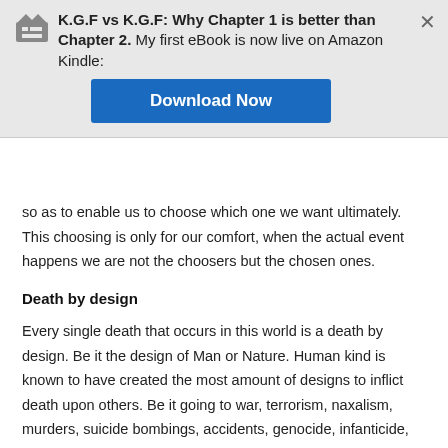K.G.F vs K.G.F: Why Chapter 1 is better than Chapter 2. My first eBook is now live on Amazon Kindle: Download Now
so as to enable us to choose which one we want ultimately. This choosing is only for our comfort, when the actual event happens we are not the choosers but the chosen ones.
Death by design
Every single death that occurs in this world is a death by design. Be it the design of Man or Nature. Human kind is known to have created the most amount of designs to inflict death upon others. Be it going to war, terrorism, naxalism, murders, suicide bombings, accidents, genocide, infanticide, etc, etc. We have designed them all. On the other hand Nature has its way with natural calamities like Earthquakes, Tsunamis, Cyclones, Volcanoes, Storms, Fire, Disease, Epidemics, etc, etc. Both man and nature are adept at designing death. If they are the givers then we also have different types of receivers. Broadly there are two kinds, the ones